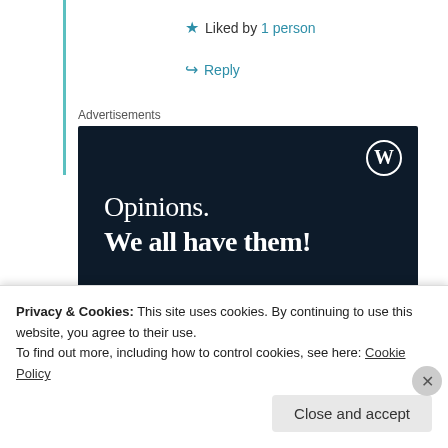★ Liked by 1 person
↪ Reply
Advertisements
[Figure (illustration): WordPress advertisement banner with dark navy background showing WordPress logo (W in circle), text 'Opinions. We all have them!', a pink 'Start a survey' button, and CrowdSignal logo circle in bottom right.]
Privacy & Cookies: This site uses cookies. By continuing to use this website, you agree to their use.
To find out more, including how to control cookies, see here: Cookie Policy
Close and accept